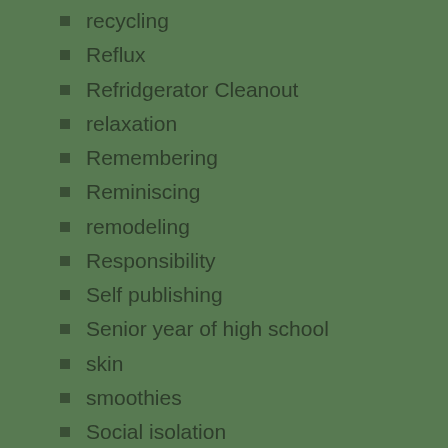recycling
Reflux
Refridgerator Cleanout
relaxation
Remembering
Reminiscing
remodeling
Responsibility
Self publishing
Senior year of high school
skin
smoothies
Social isolation
Solar Eclipse
Songwriting
Speech